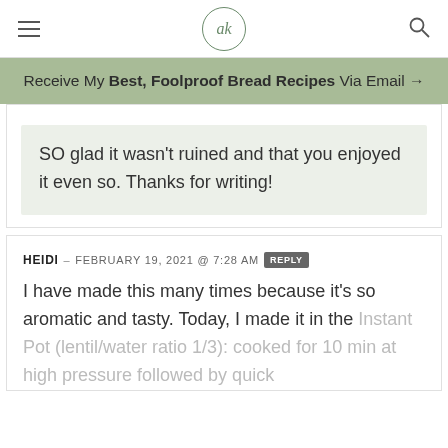ak
Receive My Best, Foolproof Bread Recipes Via Email →
SO glad it wasn't ruined and that you enjoyed it even so. Thanks for writing!
HEIDI – FEBRUARY 19, 2021 @ 7:28 AM REPLY
I have made this many times because it's so aromatic and tasty. Today, I made it in the Instant Pot (lentil/water ratio 1/3): cooked for 10 min at high pressure followed by quick